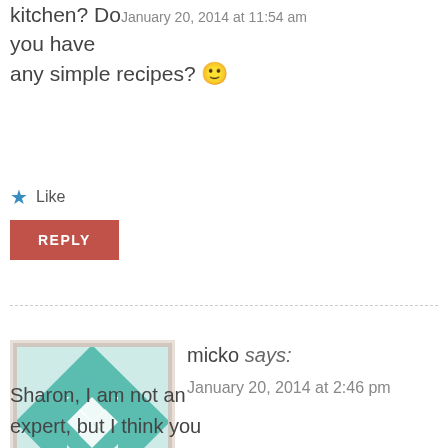kitchen? Do January 20, 2014 at 11:54 am you have any simple recipes? 🙂
Like
REPLY
micko says: January 20, 2014 at 2:46 pm
Sharon, I am not an expert, but I think you write good, I mean well. If you feed me I will clean your kitchen. And be positive, you are not a perfectionist regarding everything…for instance